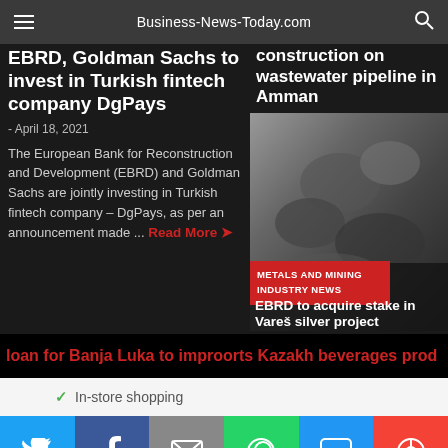Business-News-Today.com
EBRD, Goldman Sachs to invest in Turkish fintech company DgPays
- April 18, 2021
The European Bank for Reconstruction and Development (EBRD) and Goldman Sachs are jointly investing in Turkish fintech company – DgPays, as per an announcement made ... Read More
construction on wastewater pipeline in Amman
[Figure (photo): Grayscale photo of metal parts or mining equipment]
METALS AND MINING INDUSTRY NEWS
EBRD to acquire stake in Vareš silver project owner Adriatic Metals
loan for Banja Luka to improorts Kazakh beverages prod Beverage with $4m loan
✓ In-store shopping